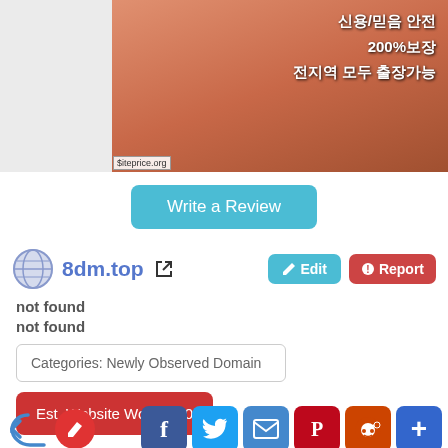[Figure (screenshot): Website screenshot banner with Korean text: 신용/믿음 안전, 200%보장, 전지역 모두 출장가능. Has siteprice.org watermark.]
Write a Review
8dm.top
not found
not found
Categories: Newly Observed Domain
Topics: 출장마사지, 출장안마, 홈타이출장, 성인마사지, 조건만남, 외국인출장, 성인용품쇼핑몰, 휴게텔추천, 오피추천, 조건만남
Est. Website Worth: $ 0